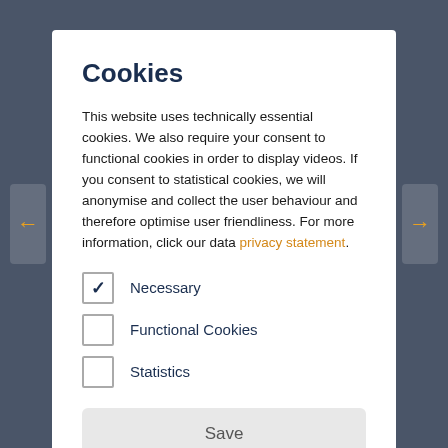Cookies
This website uses technically essential cookies. We also require your consent to functional cookies in order to display videos. If you consent to statistical cookies, we will anonymise and collect the user behaviour and therefore optimise user friendliness. For more information, click our data privacy statement.
Necessary (checked)
Functional Cookies (unchecked)
Statistics (unchecked)
Save